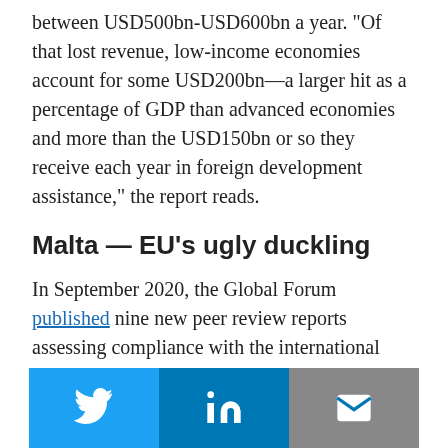between USD500bn-USD600bn a year. “Of that lost revenue, low-income economies account for some USD200bn—a larger hit as a percentage of GDP than advanced economies and more than the USD150bn or so they receive each year in foreign development assistance,” the report reads.
Malta — EU’s ugly duckling
In September 2020, the Global Forum published nine new peer review reports assessing compliance with the international standard on transparency and exchange of information on request. The only country deemed as non-compliant was Anguilla. Papua New Guinea, Chile, China, Gibraltar, Greece, Korea and Uruguay were rated Largely Compliant. Malta was issued a Partially Compliant rating.
[Figure (infographic): Social media sharing bar with Twitter, LinkedIn, and email icons]